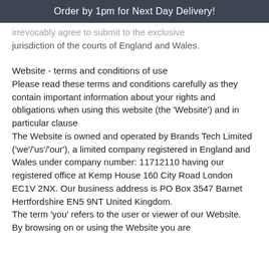Order by 1pm for Next Day Delivery!
irrevocably agree to submit to the exclusive jurisdiction of the courts of England and Wales.
Website - terms and conditions of use
Please read these terms and conditions carefully as they contain important information about your rights and obligations when using this website (the 'Website') and in particular clause
The Website is owned and operated by Brands Tech Limited ('we'/'us'/'our'), a limited company registered in England and Wales under company number: 11712110 having our registered office at Kemp House 160 City Road London EC1V 2NX. Our business address is PO Box 3547 Barnet Hertfordshire EN5 9NT United Kingdom.
The term 'you' refers to the user or viewer of our Website.
By browsing on or using the Website you are